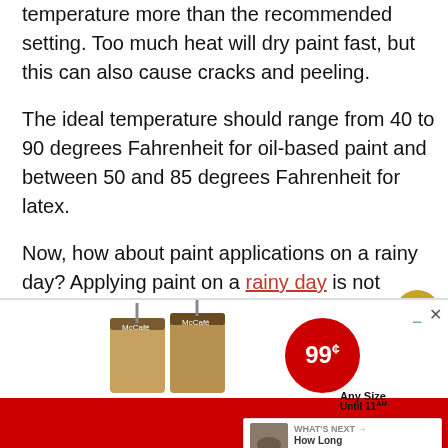temperature more than the recommended setting. Too much heat will dry paint fast, but this can also cause cracks and peeling.
The ideal temperature should range from 40 to 90 degrees Fahrenheit for oil-based paint and between 50 and 85 degrees Fahrenheit for latex.
Now, how about paint applications on a rainy day? Applying paint on a rainy day is not recommended, but it is possible. Besides a longer drying time due to low humidity, the drop in temperature also affects the paint. This is true for oil-based paints.
[Figure (other): McDonald's advertisement banner showing McCafe iced coffee drinks with a 99 cents price badge and text 'Any Size Until 11AM']